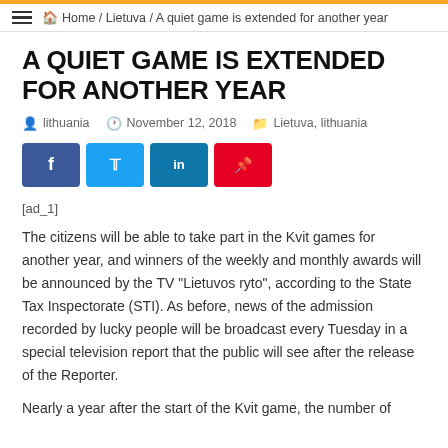Home / Lietuva / A quiet game is extended for another year
A QUIET GAME IS EXTENDED FOR ANOTHER YEAR
lithuania   November 12, 2018   Lietuva, lithuania
[ad_1]
The citizens will be able to take part in the Kvit games for another year, and winners of the weekly and monthly awards will be announced by the TV "Lietuvos ryto", according to the State Tax Inspectorate (STI). As before, news of the admission recorded by lucky people will be broadcast every Tuesday in a special television report that the public will see after the release of the Reporter.
Nearly a year after the start of the Kvit game, the number of